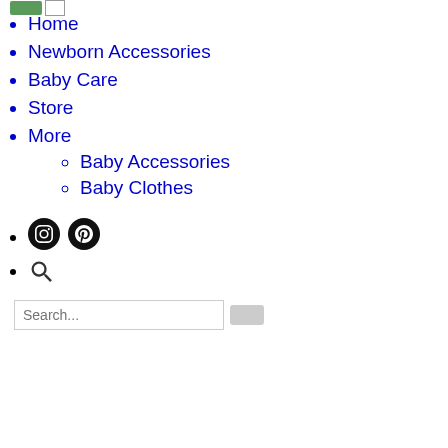[Figure (logo): Website logo with green image and small box icon at top left]
Home
Newborn Accessories
Baby Care
Store
More
Baby Accessories
Baby Clothes
[Figure (screenshot): Social media icons: Instagram (circle with target icon) and Pinterest (circle with P icon), plus a search magnifying glass icon]
[Figure (screenshot): Close button (×) and search input field with placeholder 'Search...' and a submit button]